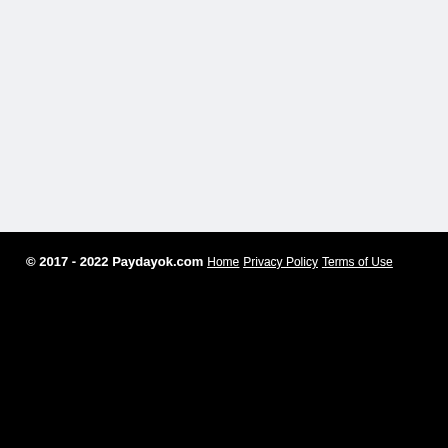© 2017 - 2022 Paydayok.com
Home
Privacy Policy
Terms of Use